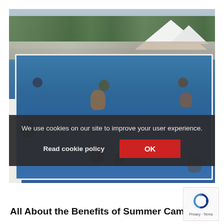[Figure (photo): Outdoor swimming pool with children and teenagers playing in blue water. White tent canopies visible in background, trees and overcast sky behind fence.]
We use cookies on our site to improve your user experience.
Read cookie policy
OK
All About the Benefits of Summer Camp
[Figure (logo): Google reCAPTCHA badge with circular arrow logo and Privacy · Terms text]